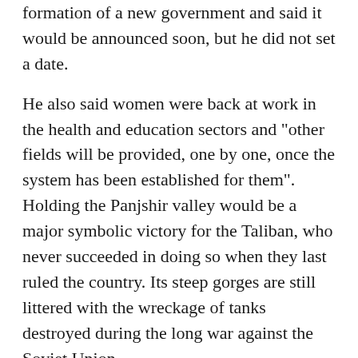formation of a new government and said it would be announced soon, but he did not set a date.
He also said women were back at work in the health and education sectors and "other fields will be provided, one by one, once the system has been established for them".
Holding the Panjshir valley would be a major symbolic victory for the Taliban, who never succeeded in doing so when they last ruled the country. Its steep gorges are still littered with the wreckage of tanks destroyed during the long war against the Soviet Union.
Massoud is the son of a legendary commander who led